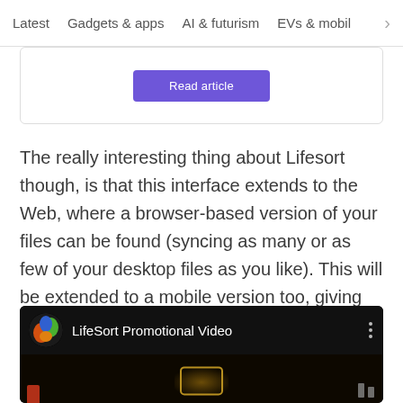Latest  Gadgets & apps  AI & futurism  EVs & mobil  >
[Figure (screenshot): Partial card with a purple 'Read article' button]
The really interesting thing about Lifesort though, is that this interface extends to the Web, where a browser-based version of your files can be found (syncing as many or as few of your desktop files as you like). This will be extended to a mobile version too, giving you access to files on the go.
[Figure (screenshot): LifeSort Promotional Video thumbnail — dark background with app icon, title text, three-dot menu, and a partial video frame showing a phone silhouette]